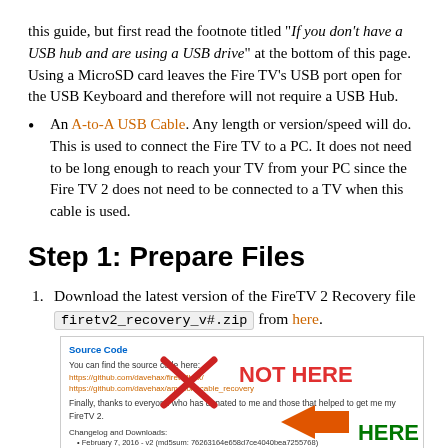this guide, but first read the footnote titled “If you don’t have a USB hub and are using a USB drive” at the bottom of this page. Using a MicroSD card leaves the Fire TV’s USB port open for the USB Keyboard and therefore will not require a USB Hub.
An A-to-A USB Cable. Any length or version/speed will do. This is used to connect the Fire TV to a PC. It does not need to be long enough to reach your TV from your PC since the Fire TV 2 does not need to be connected to a TV when this cable is used.
Step 1: Prepare Files
Download the latest version of the FireTV 2 Recovery file firetv2_recovery_v#.zip from here.
[Figure (screenshot): Screenshot of a GitHub or similar page showing source code links, with a red X over the links area and 'NOT HERE' text in red, and a large orange arrow pointing to the bottom section with 'HERE' in green text.]